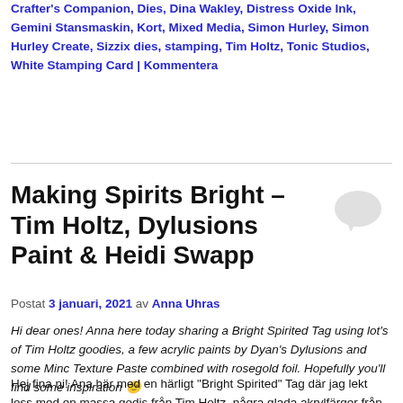Crafter's Companion, Dies, Dina Wakley, Distress Oxide Ink, Gemini Stansmaskin, Kort, Mixed Media, Simon Hurley, Simon Hurley Create, Sizzix dies, stamping, Tim Holtz, Tonic Studios, White Stamping Card | Kommentera
Making Spirits Bright – Tim Holtz, Dylusions Paint & Heidi Swapp
Postat 3 januari, 2021 av Anna Uhras
Hi dear ones! Anna here today sharing a Bright Spirited Tag using lot's of Tim Holtz goodies, a few acrylic paints by Dyan's Dylusions and some Minc Texture Paste combined with rosegold foil. Hopefully you'll find some inspiration 🙂
Hej fina ni! Ana här med en härligt "Bright Spirited" Tag där jag lekt loss med en massa godis från Tim Holtz, några glada akrylfärger från Dyan's Dylusions och lite